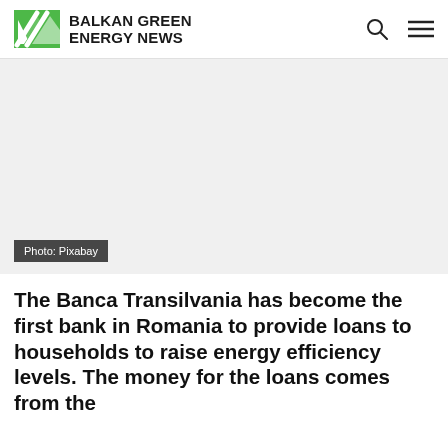BALKAN GREEN ENERGY NEWS
[Figure (photo): Blank/white image placeholder with photo credit Pixabay]
Photo: Pixabay
The Banca Transilvania has become the first bank in Romania to provide loans to households to raise energy efficiency levels. The money for the loans comes from the